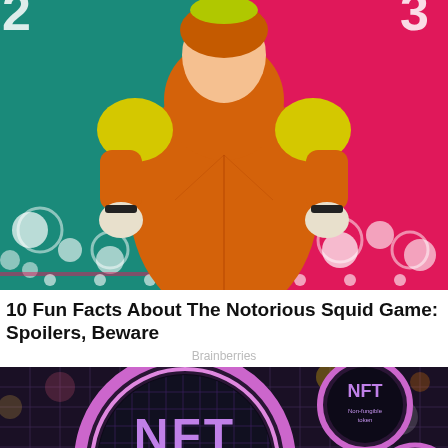[Figure (illustration): Colorful illustrated Squid Game character in orange and yellow dress with white gloves, against teal and pink dotted background with decorative lights]
10 Fun Facts About The Notorious Squid Game: Spoilers, Beware
Brainberries
[Figure (photo): Close-up photo of circular NFT (Non-fungible token) coin/medallion with purple and pink rim on dark circuit board background with city lights, additional smaller NFT coins visible in background]